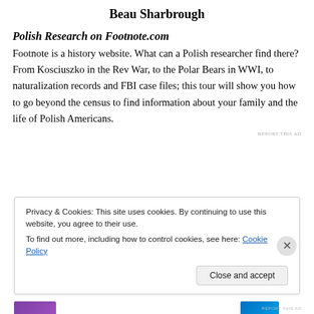Beau Sharbrough
Polish Research on Footnote.com
Footnote is a history website. What can a Polish researcher find there? From Kosciuszko in the Rev War, to the Polar Bears in WWI, to naturalization records and FBI case files; this tour will show you how to go beyond the census to find information about your family and the life of Polish Americans.
REPORT THIS AD
Privacy & Cookies: This site uses cookies. By continuing to use this website, you agree to their use.
To find out more, including how to control cookies, see here: Cookie Policy

Close and accept